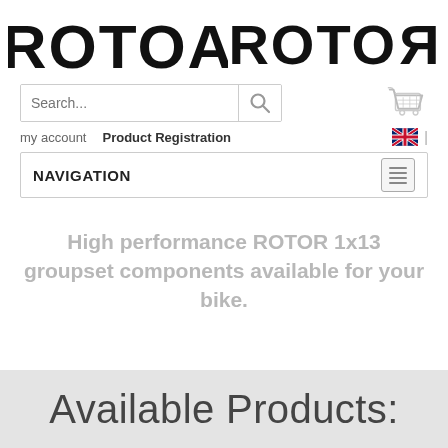[Figure (logo): ROTOR brand logo in bold black uppercase text with reversed R at end]
Search...
my account   Product Registration
NAVIGATION
High performance ROTOR 1x13 groupset components available for your bike.
Available Products: